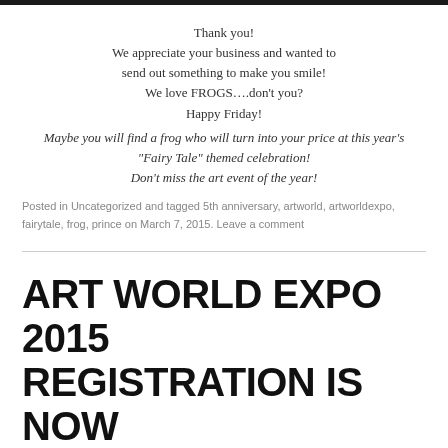Thank you!
We appreciate your business and wanted to send out something to make you smile!
We love FROGS….don't you?
Happy Friday!
Maybe you will find a frog who will turn into your price at this year's "Fairy Tale" themed celebration!
Don't miss the art event of the year!
Posted in Uncategorized and tagged 5th anniversary, artworld, artworldexpo, fairytale, frog, prince on March 7, 2015. Leave a comment
ART WORLD EXPO 2015 REGISTRATION IS NOW